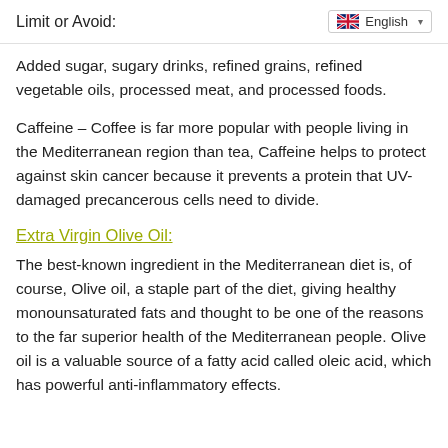Limit or Avoid:
Added sugar, sugary drinks, refined grains, refined vegetable oils, processed meat, and processed foods.
Caffeine – Coffee is far more popular with people living in the Mediterranean region than tea, Caffeine helps to protect against skin cancer because it prevents a protein that UV-damaged precancerous cells need to divide.
Extra Virgin Olive Oil:
The best-known ingredient in the Mediterranean diet is, of course, Olive oil, a staple part of the diet, giving healthy monounsaturated fats and thought to be one of the reasons to the far superior health of the Mediterranean people. Olive oil is a valuable source of a fatty acid called oleic acid, which has powerful anti-inflammatory effects.